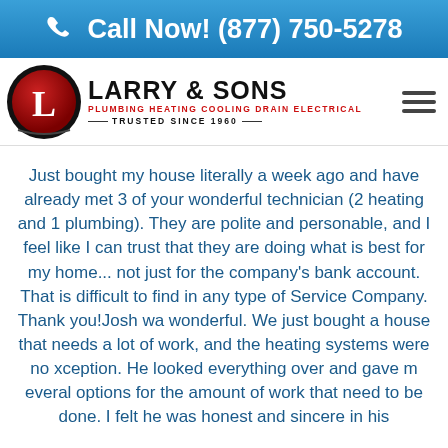Call Now! (877) 750-5278
[Figure (logo): Larry & Sons logo with circular red L emblem, company name, tagline PLUMBING HEATING COOLING DRAIN ELECTRICAL, TRUSTED SINCE 1960]
Just bought my house literally a week ago and have already met 3 of your wonderful technicians (2 heating and 1 plumbing). They are polite and personable, and I feel like I can trust that they are doing what is best for my home... not just for the company's bank account. That is difficult to find in any type of Service Company. Thank you!Josh was wonderful. We just bought a house that needs a lot of work, and the heating systems were no exception. He looked everything over and gave me several options for the amount of work that needs to be done. I felt he was honest and sincere in his discussion of our options and his intent to find...